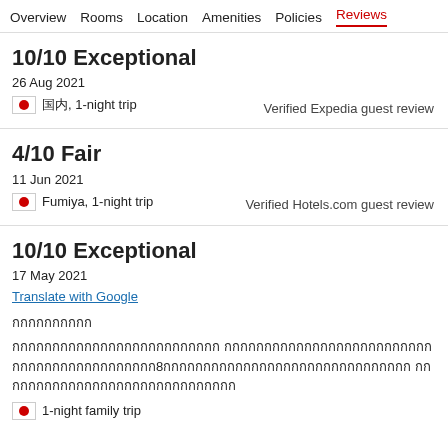Overview  Rooms  Location  Amenities  Policies  Reviews
10/10 Exceptional
26 Aug 2021
🇯🇵 国内, 1-night trip
Verified Expedia guest review
4/10 Fair
11 Jun 2021
🇯🇵 Fumiya, 1-night trip
Verified Hotels.com guest review
10/10 Exceptional
17 May 2021
Translate with Google
กกกกกกกกกก
กกกกกกกกกกกกกกกกกกกกกกกกกก กกกกกกกกกกกกกกกกกกกกกกกกกกกกกกกกกกกกกกกกกกกก8กกกกกกกกกกกกกกกกกกกกกกกกกกกกกกก กกกกกกกกกกกกกกกกกกกกกกกกกกกกกก
1-night family trip